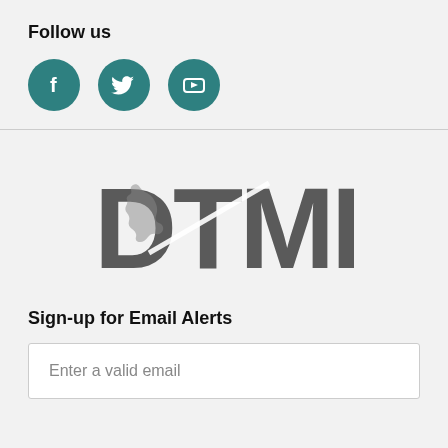Follow us
[Figure (logo): Three teal circular social media icons: Facebook (f), Twitter (bird), and YouTube (play button)]
[Figure (logo): DTMB logo with Michigan state silhouette overlaid on bold grey letters DTMB with a diagonal swoosh]
Sign-up for Email Alerts
Enter a valid email